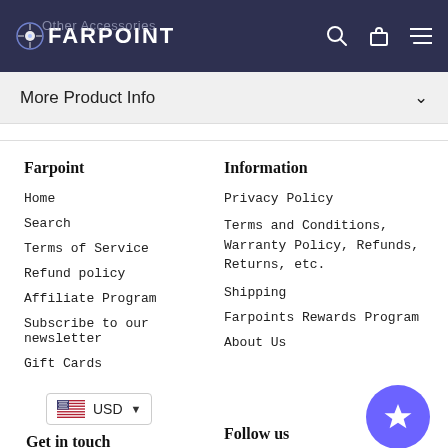FARPOINT — Other Accessories
More Product Info
Farpoint
Home
Search
Terms of Service
Refund policy
Affiliate Program
Subscribe to our newsletter
Gift Cards
Information
Privacy Policy
Terms and Conditions, Warranty Policy, Refunds, Returns, etc.
Shipping
Farpoints Rewards Program
About Us
USD
Get in touch
Follow us